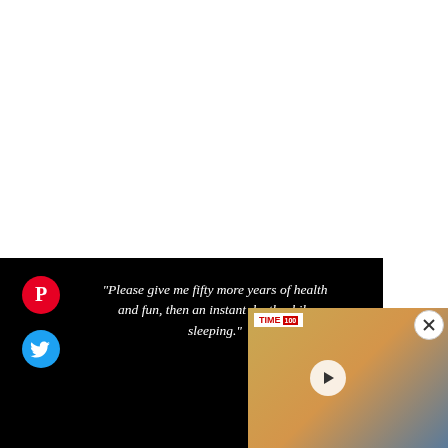[Figure (screenshot): Dark banner with Pinterest and Twitter social share icons on the left, an italic quote in white text in the center reading: "Please give me fifty more years of health and fun, then an instant death while sleeping." with a cursive signature 'John' at the bottom right.]
[Figure (screenshot): Video overlay thumbnail showing a woman in an orange/gold dress holding her braided hair, with a TIME logo in the top-left corner and a play button in the center. A close (X) button appears at the top-right.]